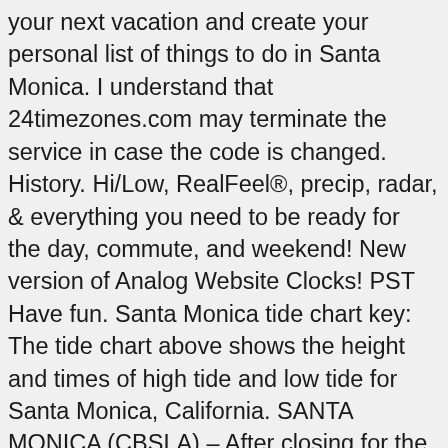your next vacation and create your personal list of things to do in Santa Monica. I understand that 24timezones.com may terminate the service in case the code is changed. History. Hi/Low, RealFeel®, precip, radar, & everything you need to be ready for the day, commute, and weekend! New version of Analog Website Clocks! PST Have fun. Santa Monica tide chart key: The tide chart above shows the height and times of high tide and low tide for Santa Monica, California. SANTA MONICA (CBSLA) – After closing for the New Year's holiday weekend to help prevent the spread of coronavirus, officials say the Santa Monica Pier … World Time The Santa Monica Pier … You can adjust color and size of your Culver City, Beverly Hills, Topanga, El Segundo, West Hollywood. Announce upcoming event time in Santa Monica. Correct time: hora exacta, aktuelle zeit, hora certa, ora esatta, heure, reloj. Check official timezones,